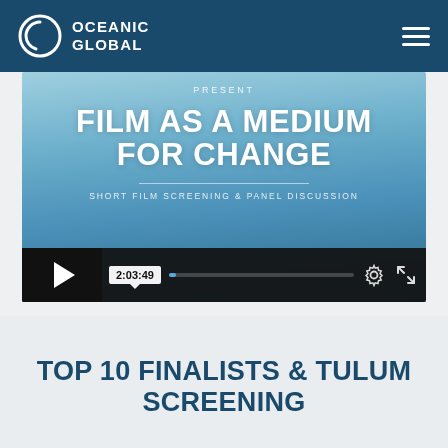OCEANIC GLOBAL
[Figure (screenshot): Video player thumbnail showing 'Film as a Medium for Change – Short Film Screening & Panel Discussion' with play button and controls showing time 2:03:49]
TOP 10 FINALISTS & TULUM SCREENING